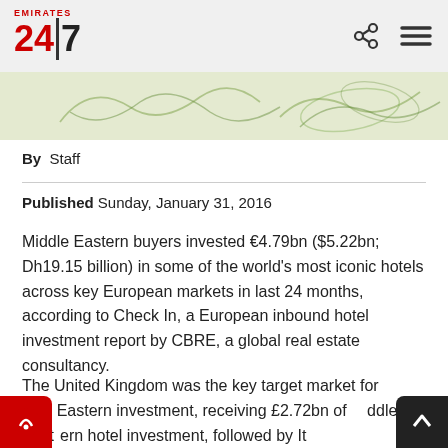Emirates 24|7
[Figure (illustration): Decorative header image with green swirl/floral patterns on light background]
By  Staff
Published Sunday, January 31, 2016
Middle Eastern buyers invested €4.79bn ($5.22bn; Dh19.15 billion) in some of the world's most iconic hotels across key European markets in last 24 months, according to Check In, a European inbound hotel investment report by CBRE, a global real estate consultancy.
The United Kingdom was the key target market for Middle Eastern investment, receiving £2.72bn of Middle Eastern hotel investment, followed by It...